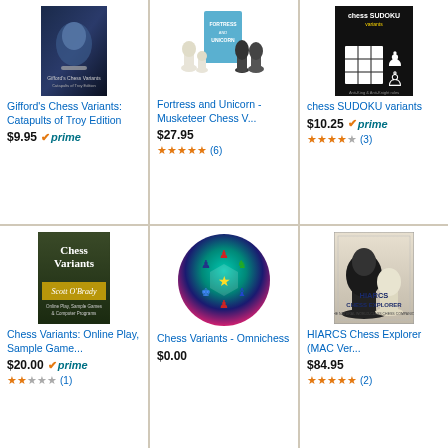[Figure (illustration): Gifford's Chess Variants: Catapults of Troy Edition book cover - dark blue with chess piece]
Gifford's Chess Variants: Catapults of Troy Edition
$9.95 prime
[Figure (illustration): Fortress and Unicorn - Musketeer Chess V... book cover showing chess pieces]
Fortress and Unicorn - Musketeer Chess V...
$27.95
4.5 stars (6)
[Figure (illustration): chess SUDOKU variants book cover - black with sudoku grid]
chess SUDOKU variants
$10.25 prime
4 stars (3)
[Figure (illustration): Chess Variants by Scott O'Brady book cover - dark green with gold banner]
Chess Variants: Online Play, Sample Game...
$20.00 prime
2 stars (1)
[Figure (illustration): Chess Variants - Omnichess circular colorful logo with chess pieces]
Chess Variants - Omnichess
$0.00
[Figure (illustration): HIARCS Chess Explorer MAC Version box cover with chess pieces]
HIARCS Chess Explorer (MAC Ver...
$84.95
4.5 stars (2)